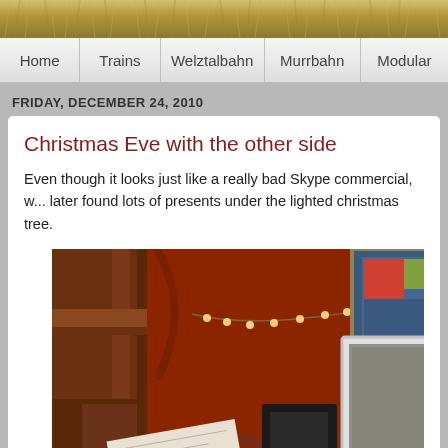[Figure (photo): Blog header image with grass/straw texture background]
Home | Trains | Welztalbahn | Murrbahn | Modular
FRIDAY, DECEMBER 24, 2010
Christmas Eve with the other side
Even though it looks just like a really bad Skype commercial, w... later found lots of presents under the lighted christmas tree.
[Figure (photo): Indoor Christmas Eve photo showing wooden furniture/dresser on the left, red wall with string lights in the background, a framed picture in the upper right, a white laptop screen, and papers/cards at the bottom.]